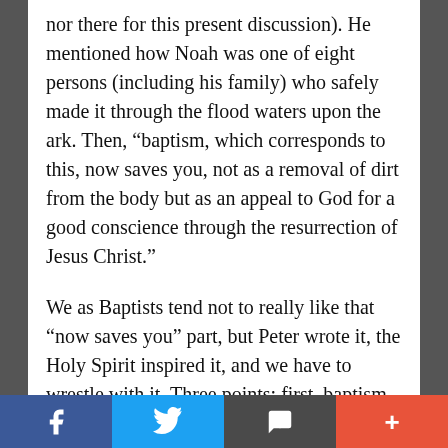nor there for this present discussion). He mentioned how Noah was one of eight persons (including his family) who safely made it through the flood waters upon the ark. Then, “baptism, which corresponds to this, now saves you, not as a removal of dirt from the body but as an appeal to God for a good conscience through the resurrection of Jesus Christ.”

We as Baptists tend not to really like that “now saves you” part, but Peter wrote it, the Holy Spirit inspired it, and we have to wrestle with it. Three points: first, baptism